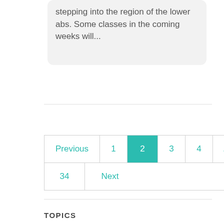stepping into the region of the lower abs. Some classes in the coming weeks will...
[Figure (screenshot): Pagination navigation showing Previous, 1, 2 (active/highlighted in teal), 3, 4, ..., 34, Next]
TOPICS